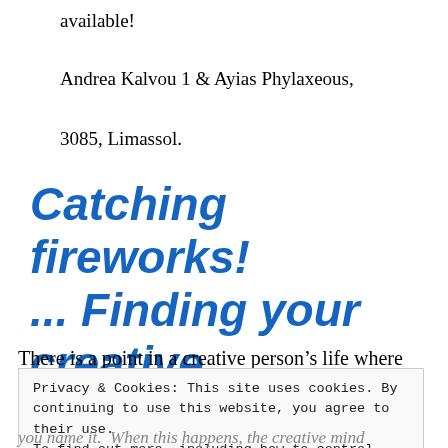available!
Andrea Kalvou 1 & Ayias Phylaxeous,
3085, Limassol.
Catching fireworks! ... Finding your creative path
There is a point in a creative person's life where
Privacy & Cookies: This site uses cookies. By continuing to use this website, you agree to their use.
To find out more, including how to control cookies, see here: Cookie Policy
Close and accept
you name it.  When this happens, the creative mind